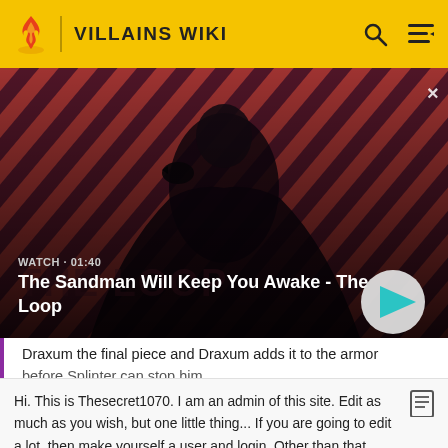VILLAINS WIKI
[Figure (screenshot): Video thumbnail showing a dark figure with a raven on his shoulder against a red-and-black striped background, labeled 'The Sandman Will Keep You Awake - The Loop', with WATCH · 01:40 and a play button]
Draxum the final piece and Draxum adds it to the armor before Splinter can stop him.
Hi. This is Thesecret1070. I am an admin of this site. Edit as much as you wish, but one little thing... If you are going to edit a lot, then make yourself a user and login. Other than that, enjoy Villains Wiki!!!